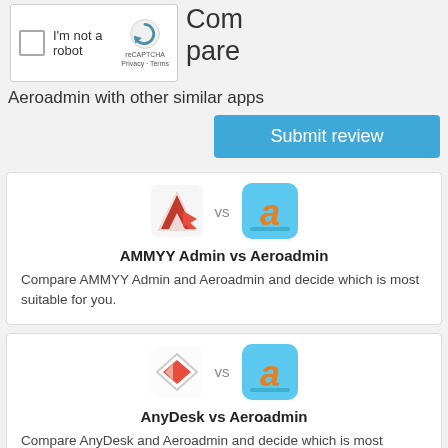[Figure (screenshot): reCAPTCHA widget with checkbox 'I'm not a robot' and reCAPTCHA logo]
Compare Aeroadmin with other similar apps
[Figure (other): Submit review button (blue)]
[Figure (other): AMMYY Admin logo vs Aeroadmin logo icons]
AMMYY Admin vs Aeroadmin
Compare AMMYY Admin and Aeroadmin and decide which is most suitable for you.
[Figure (other): AnyDesk logo vs Aeroadmin logo icons]
AnyDesk vs Aeroadmin
Compare AnyDesk and Aeroadmin and decide which is most suitable for you.